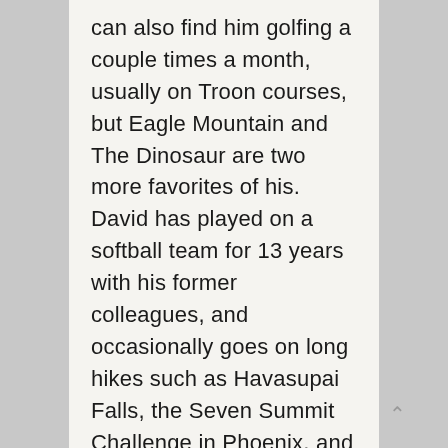can also find him golfing a couple times a month, usually on Troon courses, but Eagle Mountain and The Dinosaur are two more favorites of his. David has played on a softball team for 13 years with his former colleagues, and occasionally goes on long hikes such as Havasupai Falls, the Seven Summit Challenge in Phoenix, and recently completed hiking "Rim to Rim" at the Grand Canyon in October 2015.